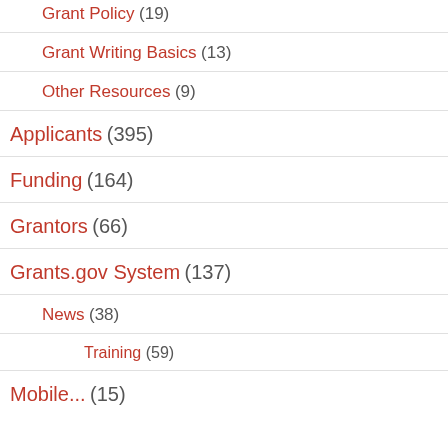Grant Policy (19)
Grant Writing Basics (13)
Other Resources (9)
Applicants (395)
Funding (164)
Grantors (66)
Grants.gov System (137)
News (38)
Training (59)
Mobile... (15)